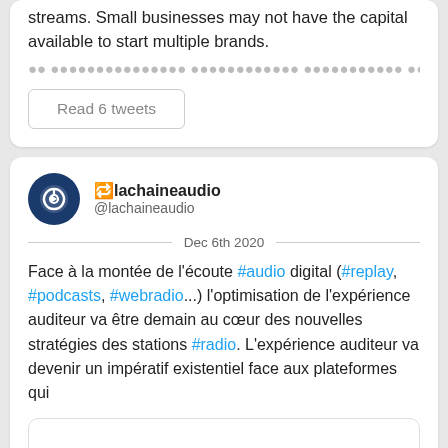streams. Small businesses may not have the capital available to start multiple brands.
[faded/partially visible line of text]
Read 6 tweets
🔁lachaineaudio @lachaineaudio Dec 6th 2020
Face à la montée de l'écoute #audio digital (#replay, #podcasts, #webradio...) l'optimisation de l'expérience auditeur va être demain au cœur des nouvelles stratégies des stations #radio. L'expérience auditeur va devenir un impératif existentiel face aux plateformes qui